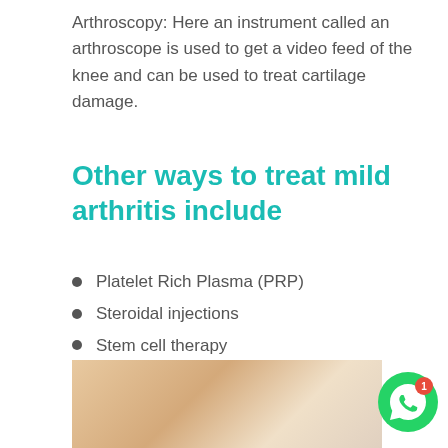Arthroscopy: Here an instrument called an arthroscope is used to get a video feed of the knee and can be used to treat cartilage damage.
Other ways to treat mild arthritis include
Platelet Rich Plasma (PRP)
Steroidal injections
Stem cell therapy
Cartilage re-grow
Hyaluron/Hyaluronidase injections
[Figure (photo): Photo of a knee or medical treatment image at the bottom of the page]